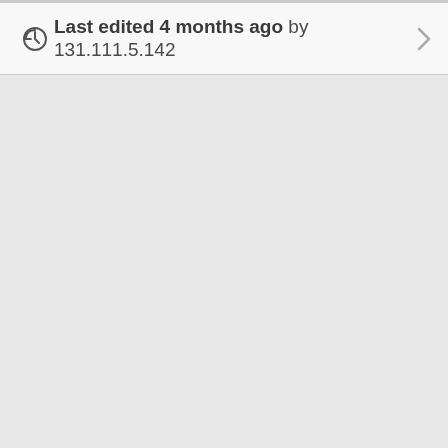Last edited 4 months ago by 131.111.5.142